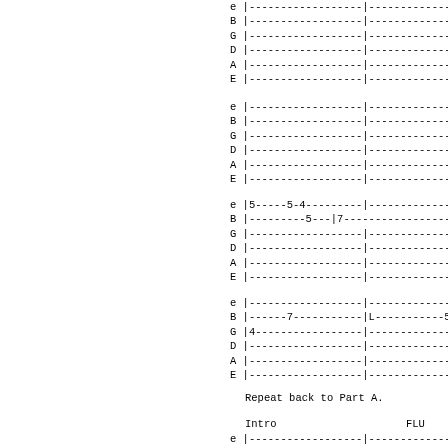e |------------------|------------------
B |------------------|------------------
G |------------------|------------------
D |------------------|------------------
A |------------------|------------------
E |------------------|------------------
e |------------------|------------------
B |------------------|------------------
G |------------------|------------------
D |------------------|------------------
A |------------------|------------------
E |------------------|------------------
e |5-----5-4---------|------------------
B |---------5--|7------------------
G |------------------|------------------
D |------------------|------------------
A |------------------|------------------
E |------------------|------------------
e |------------------|------------------
B |------7-----------|L-----------5
G |4-----------------|------------------
D |------------------|------------------
A |------------------|------------------
E |------------------|------------------
Repeat back to Part A.
Intro
FLU
e |------------------|------------------
B |------------------|------------------
G |------------------|------------------